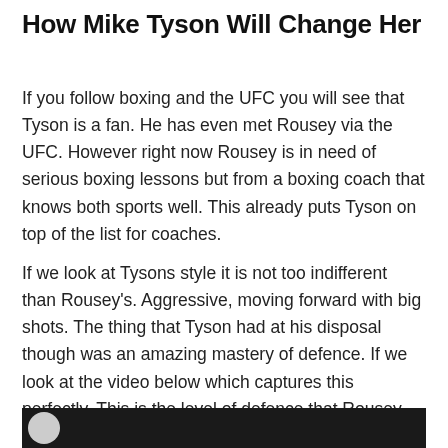How Mike Tyson Will Change Her
If you follow boxing and the UFC you will see that Tyson is a fan. He has even met Rousey via the UFC. However right now Rousey is in need of serious boxing lessons but from a boxing coach that knows both sports well. This already puts Tyson on top of the list for coaches.
If we look at Tysons style it is not too indifferent than Rousey's. Aggressive, moving forward with big shots. The thing that Tyson had at his disposal though was an amazing mastery of defence. If we look at the video below which captures this perfectly. This is the level of defence that Rousey needs to add to her game.
[Figure (photo): Dark banner/image strip at the bottom of the page showing the beginning of a video or photo with a circular icon visible on the left side against a black background]